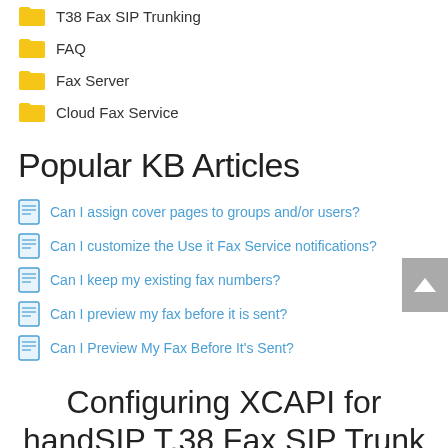T38 Fax SIP Trunking
FAQ
Fax Server
Cloud Fax Service
Popular KB Articles
Can I assign cover pages to groups and/or users?
Can I customize the Use it Fax Service notifications?
Can I keep my existing fax numbers?
Can I preview my fax before it is sent?
Can I Preview My Fax Before It's Sent?
Configuring XCAPI for handSIP T.38 Fax SIP Trunk